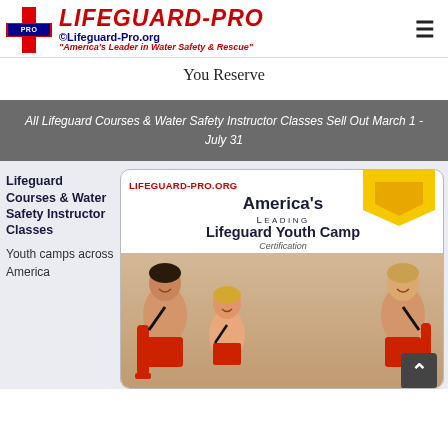[Figure (logo): Lifeguard-Pro logo with red cross, PRO label, red title text, blue URL and italic tagline]
You Reserve
All Lifeguard Courses & Water Safety Instructor Classes Sell Out March 1 - July 31
Lifeguard Courses & Water Safety Instructor Classes
Youth camps across America
[Figure (photo): America's Leading Lifeguard Youth Camp Certification card with three lifeguard youths in red swimwear holding rescue tubes, yellow checkmark arrow graphic, LIFEGUARD-PRO.org label]